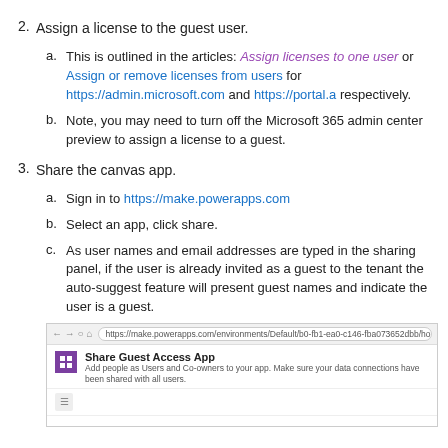2. Assign a license to the guest user.
a. This is outlined in the articles: Assign licenses to one user or Assign or remove licenses from users for https://admin.microsoft.com and https://portal.a respectively.
b. Note, you may need to turn off the Microsoft 365 admin center preview to assign a license to a guest.
3. Share the canvas app.
a. Sign in to https://make.powerapps.com
b. Select an app, click share.
c. As user names and email addresses are typed in the sharing panel, if the user is already invited as a guest to the tenant the auto-suggest feature will present guest names and indicate the user is a guest.
[Figure (screenshot): Browser screenshot showing the Share Guest Access App dialog on make.powerapps.com. The heading reads 'Share Guest Access App' with subtitle 'Add people as Users and Co-owners to your app. Make sure your data connections have been shared with all users.']